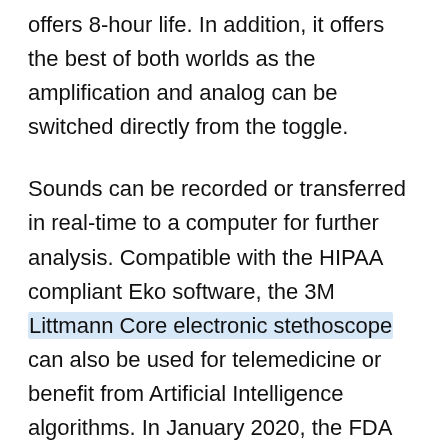offers 8-hour life. In addition, it offers the best of both worlds as the amplification and analog can be switched directly from the toggle.
Sounds can be recorded or transferred in real-time to a computer for further analysis. Compatible with the HIPAA compliant Eko software, the 3M Littmann Core electronic stethoscope can also be used for telemedicine or benefit from Artificial Intelligence algorithms. In January 2020, the FDA even gave clearance to EKO for an algorithm detecting heart murmurs.
The 3M Littmann Core is sturdy and can endure the rigors of a busy day. It comes with a durable metal chest piece and traditional tubing that perfectly fits